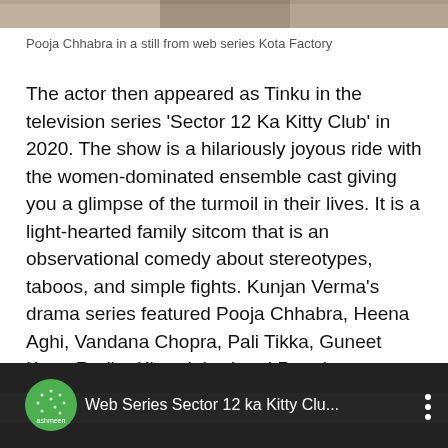[Figure (photo): Top portion of a photo showing people in a still from web series Kota Factory]
Pooja Chhabra in a still from web series Kota Factory
The actor then appeared as Tinku in the television series 'Sector 12 Ka Kitty Club' in 2020. The show is a hilariously joyous ride with the women-dominated ensemble cast giving you a glimpse of the turmoil in their lives. It is a light-hearted family sitcom that is an observational comedy about stereotypes, taboos, and simple fights. Kunjan Verma's drama series featured Pooja Chhabra, Heena Aghi, Vandana Chopra, Pali Tikka, Guneet Kaur, Radha Khandelwal and Preeti.
[Figure (screenshot): Video thumbnail for Web Series Sector 12 ka Kitty Clu... with ashmeen channel logo (green circle) and three-dot menu icon on dark background]